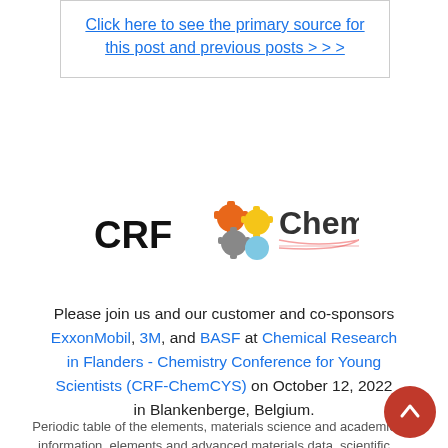Click here to see the primary source for this post and previous posts > > >
[Figure (logo): CRF and ChemCYS combined logo]
Please join us and our customer and co-sponsors ExxonMobil, 3M, and BASF at Chemical Research in Flanders - Chemistry Conference for Young Scientists (CRF-ChemCYS) on October 12, 2022 in Blankenberge, Belgium.
Periodic table of the elements, materials science and academic information, elements and advanced materials data, scientific